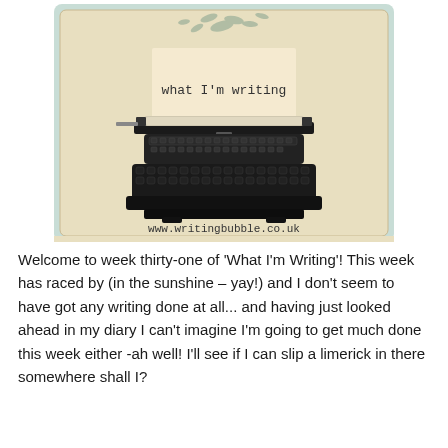[Figure (illustration): A decorative card/badge image showing a vintage typewriter with paper inserted, text on the paper reading 'what I'm writing', decorative butterflies/birds flying above, on a mint/sage green background, with URLs www.writingbubble.co.uk and www.muddledmanuscript.co.uk at the bottom of the card.]
Welcome to week thirty-one of 'What I'm Writing'! This week has raced by (in the sunshine – yay!) and I don't seem to have got any writing done at all... and having just looked ahead in my diary I can't imagine I'm going to get much done this week either -ah well! I'll see if I can slip a limerick in there somewhere shall I?